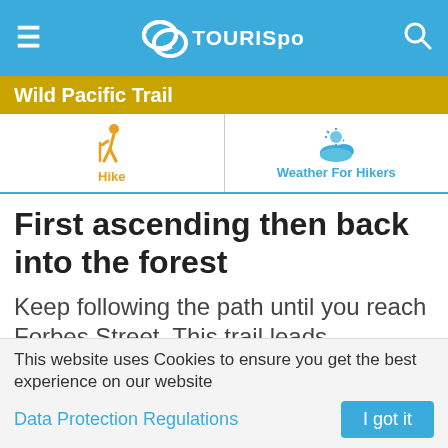TouriSpo
Wild Pacific Trail
[Figure (infographic): Two navigation tabs: a hiker icon labeled 'Hike' in orange, and a sun/cloud weather icon labeled 'Weather For Hikers' in blue.]
First ascending then back into the forest
Keep following the path until you reach Forbes Street. This trail leads continuously alongside the shore. Next you'll have to hike uphill for a while until
This website uses Cookies to ensure you get the best experience on our website
Data Protection Regulations
I got it